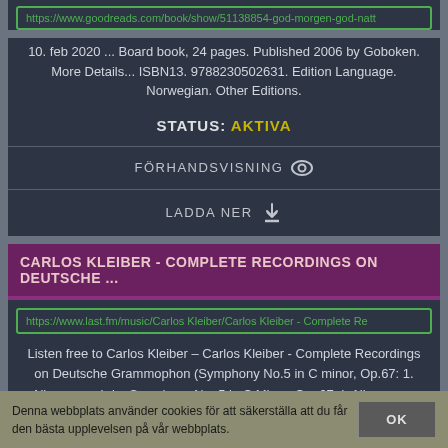https://www.goodreads.com/book/show/51138854-god-morgen-god-natt
10. feb 2020 ... Board book, 24 pages. Published 2006 by Goboken. More Details... ISBN13. 9788230502631. Edition Language. Norwegian. Other Editions.
STATUS: AKTIVA
FÖRHANDSVISNING 👁
LADDA NER ⬇
CARLOS KLEIBER - COMPLETE RECORDINGS ON DEUTSCHE ...
https://www.last.fm/music/Carlos Kleiber/Carlos Kleiber - Complete Re
Listen free to Carlos Kleiber – Carlos Kleiber - Complete Recordings on Deutsche Grammophon (Symphony No.5 in C minor, Op.67: 1. Allegro con brio, Symphony No. 5 in C Minor, Op. 67: I. Allegro con brio and more). 152
Denna webbplats använder cookies för att säkerställa att du får den bästa upplevelsen på vår webbplats.